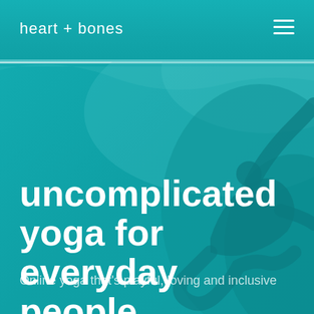heart + bones
uncomplicated yoga for everyday people
Online yoga that's playful, loving and inclusive